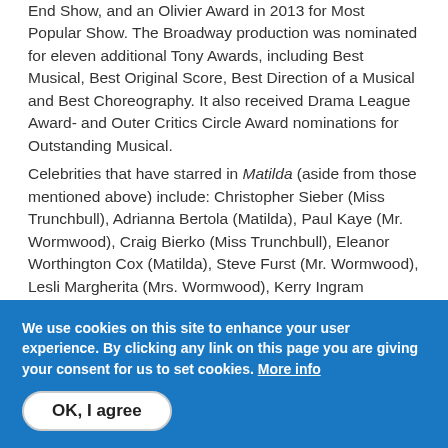End Show, and an Olivier Award in 2013 for Most Popular Show. The Broadway production was nominated for eleven additional Tony Awards, including Best Musical, Best Original Score, Best Direction of a Musical and Best Choreography. It also received Drama League Award- and Outer Critics Circle Award nominations for Outstanding Musical.
Celebrities that have starred in Matilda (aside from those mentioned above) include: Christopher Sieber (Miss Trunchbull), Adrianna Bertola (Matilda), Paul Kaye (Mr. Wormwood), Craig Bierko (Miss Trunchbull), Eleanor Worthington Cox (Matilda), Steve Furst (Mr. Wormwood), Lesli Margherita (Mrs. Wormwood), Kerry Ingram (Matilda), Taylor Trensch (Michael), Robert Madge (Reginald) and Jill Paice (Miss Honey).
We use cookies on this site to enhance your user experience. By clicking any link on this page you are giving your consent for us to set cookies. More info
OK, I agree